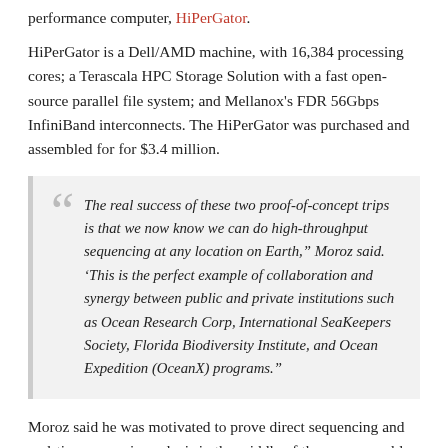performance computer, HiPerGator.
HiPerGator is a Dell/AMD machine, with 16,384 processing cores; a Terascala HPC Storage Solution with a fast open-source parallel file system; and Mellanox's FDR 56Gbps InfiniBand interconnects. The HiPerGator was purchased and assembled for for $3.4 million.
“The real success of these two proof-of-concept trips is that we now know we can do high-throughput sequencing at any location on Earth,” Moroz said. ‘This is the perfect example of collaboration and synergy between public and private institutions such as Ocean Research Corp, International SeaKeepers Society, Florida Biodiversity Institute, and Ocean Expedition (OceanX) programs.”
Moroz said he was motivated to prove direct sequencing and real-time genomic analysis in the middle of the ocean would work because of past frustrations with field expeditions. Creatures shipped to a lab often arrive in degraded condition. Oversampling to compensate for those errors is a problem, too, because it leads to